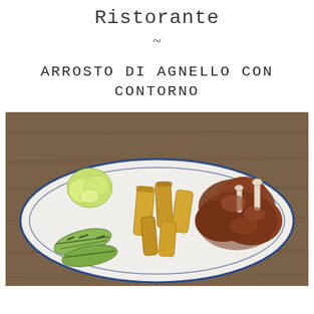Ristorante
~
ARROSTO DI AGNELLO CON CONTORNO
[Figure (photo): A white oval plate with a blue rim on a wooden table, containing roasted lamb pieces with braised sauce, thick-cut potato wedges, grilled zucchini slices, and a piece of lettuce/chicory.]